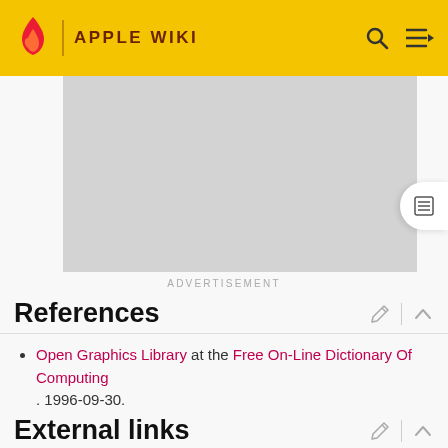APPLE WIKI
[Figure (other): Advertisement placeholder (grey rectangle)]
ADVERTISEMENT
References
Open Graphics Library at the Free On-Line Dictionary Of Computing . 1996-09-30.
External links